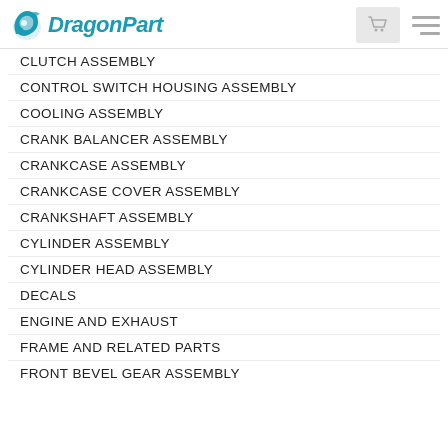DragonPart
CLUTCH ASSEMBLY
CONTROL SWITCH HOUSING ASSEMBLY
COOLING ASSEMBLY
CRANK BALANCER ASSEMBLY
CRANKCASE ASSEMBLY
CRANKCASE COVER ASSEMBLY
CRANKSHAFT ASSEMBLY
CYLINDER ASSEMBLY
CYLINDER HEAD ASSEMBLY
DECALS
ENGINE AND EXHAUST
FRAME AND RELATED PARTS
FRONT BEVEL GEAR ASSEMBLY